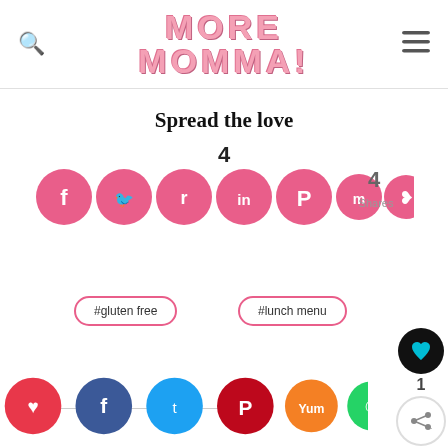MORE MOMMA!
Spread the love
4
[Figure (infographic): Social share buttons row: Facebook, Twitter, Reddit, LinkedIn, Pinterest, Mix, Share icons in pink circles, with 4 Shares count]
#gluten free
#lunch menu
[Figure (infographic): Bottom social sharing bar with icons: heart (red), Facebook (navy), Twitter (blue), Pinterest (dark red), Yum (orange), WhatsApp (green)]